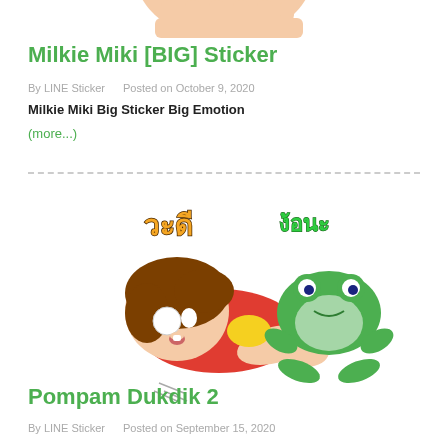[Figure (illustration): Partial view of an anime/cartoon character head at the top of the page, cropped]
Milkie Miki [BIG] Sticker
By LINE Sticker   Posted on October 9, 2020
Milkie Miki Big Sticker Big Emotion
(more...)
[Figure (illustration): Cartoon sticker of a girl lying down with a green frog on her back, with Thai text reading 'วะดี' and 'ง้อนะ']
Pompam Dukdik 2
By LINE Sticker   Posted on September 15, 2020